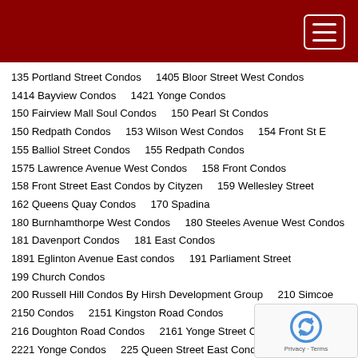[Dark red navigation header bar with hamburger menu button]
135 Portland Street Condos
1405 Bloor Street West Condos
1414 Bayview Condos
1421 Yonge Condos
150 Fairview Mall Soul Condos
150 Pearl St Condos
150 Redpath Condos
153 Wilson West Condos
154 Front St E
155 Balliol Street Condos
155 Redpath Condos
1575 Lawrence Avenue West Condos
158 Front Condos
158 Front Street East Condos by Cityzen
159 Wellesley Street
162 Queens Quay Condos
170 Spadina
180 Burnhamthorpe West Condos
180 Steeles Avenue West Condos
181 Davenport Condos
181 East Condos
1891 Eglinton Avenue East condos
191 Parliament Street
199 Church Condos
200 Russell Hill Condos By Hirsh Development Group
210 Simcoe
2150 Condos
2151 Kingston Road Condos
216 Doughton Road Condos
2161 Yonge Street Condos
222 Finch
2221 Yonge Condos
225 Queen Street East Condos Toronto
2400 Bathurst
243 Niagara
2444 Hurontario Street Condos
2452 bloor street west condos
250 Lawrence Condos
252 Church condos
260 High Park Condos
263 Adelaide
266 ROYAL YORK ROAD CONDOS
27 Yorkville Condos
277 Davenport
28 Eastern Condos
2839 Jane Street Condos
299 Campbell Avenue
30 Ordance Street
30 Tippett Road